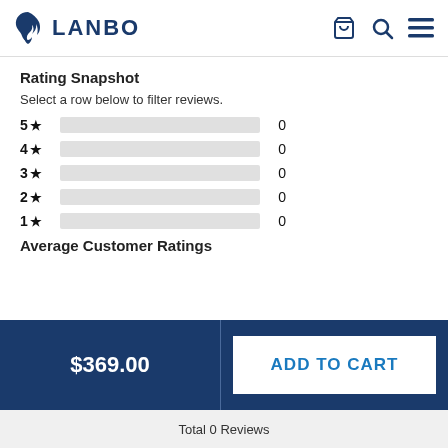[Figure (logo): LANBO brand logo with blue flame/hand icon and bold navy text]
Rating Snapshot
Select a row below to filter reviews.
[Figure (bar-chart): Star rating distribution]
Average Customer Ratings
$369.00
ADD TO CART
Total 0 Reviews